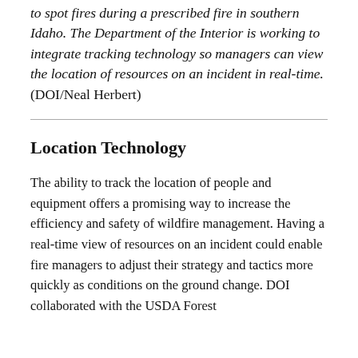to spot fires during a prescribed fire in southern Idaho. The Department of the Interior is working to integrate tracking technology so managers can view the location of resources on an incident in real-time. (DOI/Neal Herbert)
Location Technology
The ability to track the location of people and equipment offers a promising way to increase the efficiency and safety of wildfire management. Having a real-time view of resources on an incident could enable fire managers to adjust their strategy and tactics more quickly as conditions on the ground change. DOI collaborated with the USDA Forest